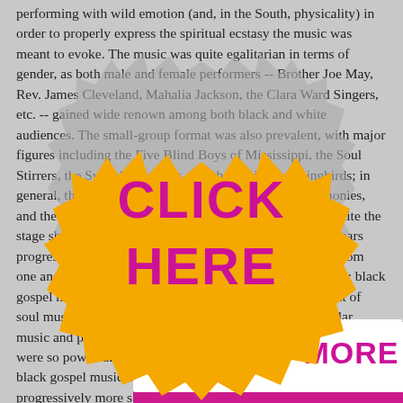performing with wild emotion (and, in the South, physicality) in order to properly express the spiritual ecstasy the music was meant to evoke. The music was quite egalitarian in terms of gender, as both male and female performers -- Brother Joe May, Rev. James Cleveland, Mahalia Jackson, the Clara Ward Singers, etc. -- gained wide renown among both black and white audiences. The small-group format was also prevalent, with major figures including the Five Blind Boys of Mississippi, the Soul Stirrers, the Swan Silvertones, and the Dixie Hummingbirds; in general, the groups placed great emphasis on vocal harmonies, and their performances combined raucous energy (if not quite the stage showmanship characteristic of a pop group. As the years progressed, black gospel music influenced and borrowed from one another, with a gradual range of emphasis toward R&B; black gospel music had a profound influence on the development of soul music, lending its emotional intensity into more secular music and producing a range of performers whose musical skills were so powerful as to make them a marketable style unto itself; black gospel music crossed over to wide popularity in the 1970s; progressively more sophisticated studio productions reached much wider audiences during the 1980s and 1990s, but as mainstream tastes had turned toward other styles of music, many things had changed, contributing...
[Figure (infographic): Two overlapping promotional banner graphics. Top banner: magenta/pink rectangle with bold magenta text 'FIND OUT MORE' on white background with a grey gear/cog shape partially visible behind. Bottom graphic: large orange spiky gear/cog shape with bold magenta text 'CLICK HERE' in large block letters inside it.]